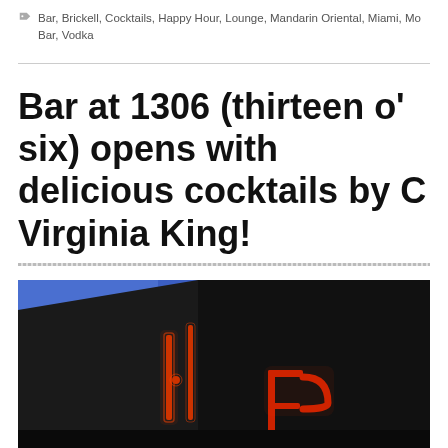Bar, Brickell, Cocktails, Happy Hour, Lounge, Mandarin Oriental, Miami, Mo Bar, Vodka
Bar at 1306 (thirteen o' six) opens with delicious cocktails by C Virginia King!
[Figure (photo): Nighttime photo of a neon sign showing partial letters (appears to be 'P' or 'D') in red/orange neon light against a dark building facade with a blue sky background.]